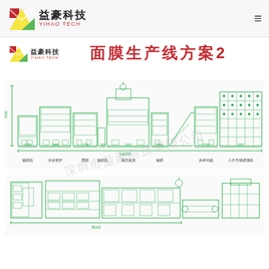益豪科技 YIHAO TECH
[Figure (logo): Yihao Tech logo with red/yellow/green geometric icon and Chinese/English text]
面膜生产线方案2
[Figure (engineering-diagram): Top-view technical schematic of facial mask production line showing multiple machines with dimension annotations in green. Machines labeled: 输膜机, 水份置护, 面膜, 输膜机, 液态装置, 输膜, 多种功能, 八爪生物灌溉机. Total length dimension: 14055. Individual segment dimensions shown above machines. Height dimension: 7580 shown on left side.]
[Figure (engineering-diagram): Side/front-view technical schematic of same facial mask production line showing machine silhouettes in green outline. Bottom dimension annotation: 5642.]